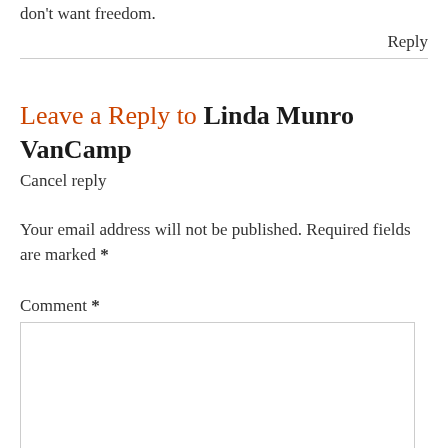don't want freedom.
Reply
Leave a Reply to Linda Munro VanCamp
Cancel reply
Your email address will not be published. Required fields are marked *
Comment *